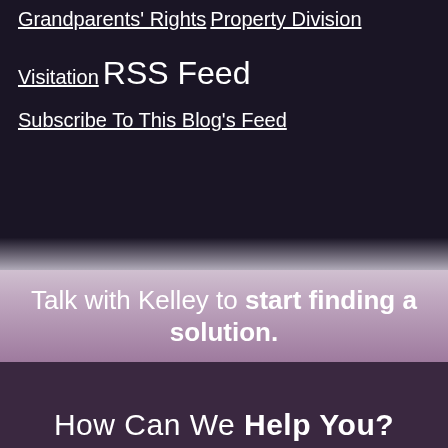Grandparents' Rights
Property Division
Visitation
RSS Feed
Subscribe To This Blog's Feed
Talk with Kelley to start finding a solution.
How Can We Help You?